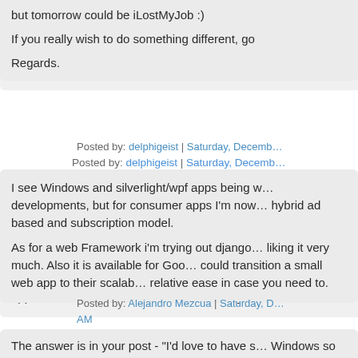but tomorrow could be iLostMyJob :)
If you really wish to do something different, go
Regards.
Posted by: delphigeist | Saturday, Decemb…
I see Windows and silverlight/wpf apps being w… developments, but for consumer apps I'm now… hybrid ad based and subscription model.

As for a web Framework i'm trying out django… liking it very much. Also it is available for Goo… could transition a small web app to their scalab… relative ease in case you need to.
Posted by: Alejandro Mezcua | Saturday, D… AM
The answer is in your post - "I'd love to have s… Windows so customers wouldn't have to fill ou… every time they want to buy software online".

A downloadable appstore for windows... like s…